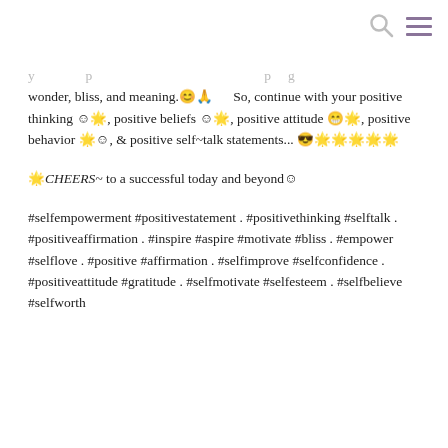[search icon] [menu icon]
y... p... ...p g wonder, bliss, and meaning.😊🙏   So, continue with your positive thinking 😊🌟, positive beliefs 😊🌟, positive attitude 😁🌟, positive behavior 🌟😊, & positive self~talk statements... 😎🌟🌟🌟🌟🌟
🌟CHEERS~ to a successful today and beyond😊
#selfempowerment #positivestatement . #positivethinking #selftalk . #positiveaffirmation . #inspire #aspire #motivate #bliss . #empower #selflove . #positive #affirmation . #selfimprove #selfconfidence . #positiveattitude #gratitude . #selfmotivate #selfesteem . #selfbelieve #selfworth